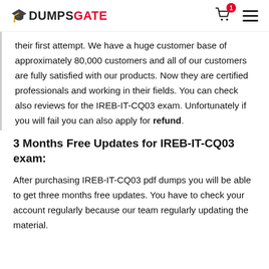DUMPSGATE
their first attempt. We have a huge customer base of approximately 80,000 customers and all of our customers are fully satisfied with our products. Now they are certified professionals and working in their fields. You can check also reviews for the IREB-IT-CQ03 exam. Unfortunately if you will fail you can also apply for refund.
3 Months Free Updates for IREB-IT-CQ03 exam:
After purchasing IREB-IT-CQ03 pdf dumps you will be able to get three months free updates. You have to check your account regularly because our team regularly updating the material.